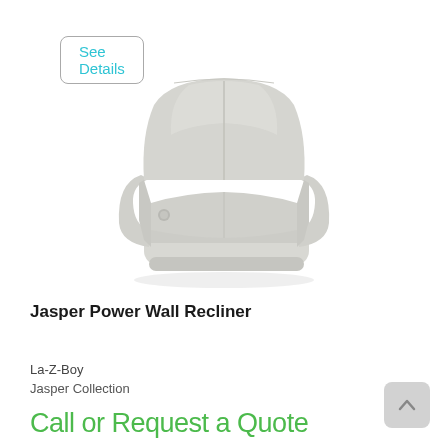See Details
[Figure (photo): La-Z-Boy Jasper Power Wall Recliner upholstered in light gray/cream fabric, shown in a three-quarter front view on a white background.]
Jasper Power Wall Recliner
La-Z-Boy
Jasper Collection
Call or Request a Quote